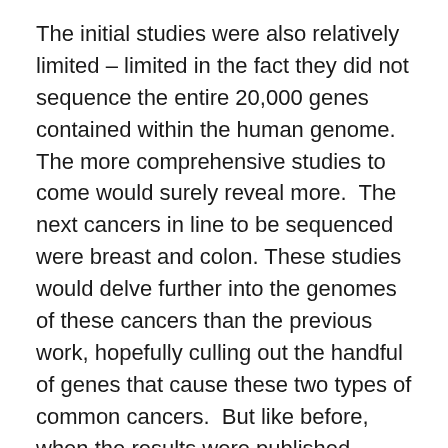The initial studies were also relatively limited – limited in the fact they did not sequence the entire 20,000 genes contained within the human genome.   The more comprehensive studies to come would surely reveal more.  The next cancers in line to be sequenced were breast and colon.  These studies would delve further into the genomes of these cancers than the previous work, hopefully culling out the handful of genes that cause these two types of common cancers.  But like before, when the results were published between 2006 and 2007 – that was not the case.
Again no new oncogenes were found, but far more unsettling than that, was the beginning realization that none of the mutations found were conclusively determined to be responsible for the origin of the